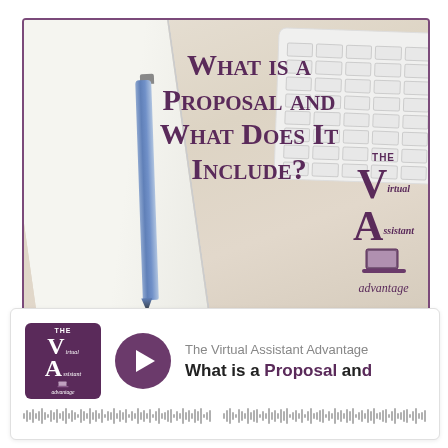[Figure (illustration): Blog post header image showing a wood-grain desk background with a notebook and blue pen on the left, a white keyboard on the upper right, and centered bold purple small-caps text reading 'What is a Proposal and What Does It Include?' with 'The Virtual Assistant Advantage' logo in the lower right corner of the image.]
[Figure (screenshot): Podcast player embed card showing The Virtual Assistant Advantage purple square logo thumbnail on the left, a purple circular play button in the center-left, and track info on the right reading 'The Virtual Assistant Assistant Advantage' in gray and 'What is a Proposal and' in bold black/purple. A waveform audio scrubber bar is shown at the bottom.]